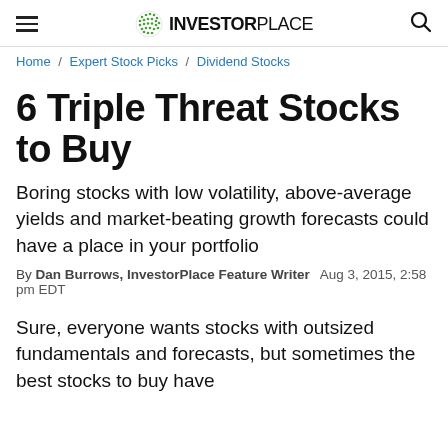InvestorPlace
Home / Expert Stock Picks / Dividend Stocks
6 Triple Threat Stocks to Buy
Boring stocks with low volatility, above-average yields and market-beating growth forecasts could have a place in your portfolio
By Dan Burrows, InvestorPlace Feature Writer  Aug 3, 2015, 2:58 pm EDT
Sure, everyone wants stocks with outsized fundamentals and forecasts, but sometimes the best stocks to buy have